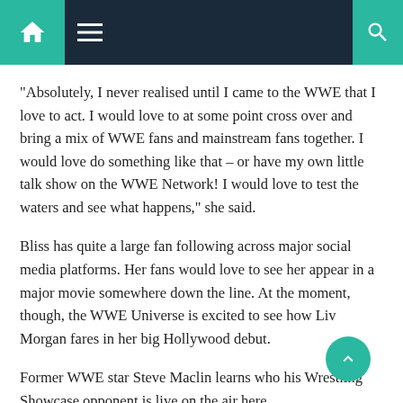Navigation bar with home, menu, and search icons
“Absolutely, I never realised until I came to the WWE that I love to act. I would love to at some point cross over and bring a mix of WWE fans and mainstream fans together. I would love do something like that – or have my own little talk show on the WWE Network! I would love to test the waters and see what happens,” she said.
Bliss has quite a large fan following across major social media platforms. Her fans would love to see her appear in a major movie somewhere down the line. At the moment, though, the WWE Universe is excited to see how Liv Morgan fares in her big Hollywood debut.
Former WWE star Steve Maclin learns who his Wrestling Showcase opponent is live on the air here.